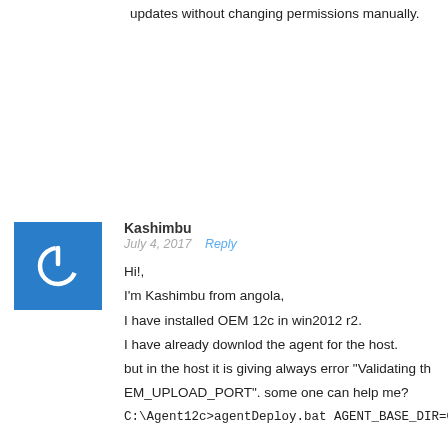updates without changing permissions manually.
[Figure (illustration): Blue square avatar with white power button icon]
Kashimbu
July 4, 2017  Reply

Hi!,
I'm Kashimbu from angola,
I have installed OEM 12c in win2012 r2.
I have already downlod the agent for the host.
but in the host it is giving always error "Validating th EM_UPLOAD_PORT". some one can help me?

C:\Agent12c>agentDeploy.bat AGENT_BASE_DIR=C